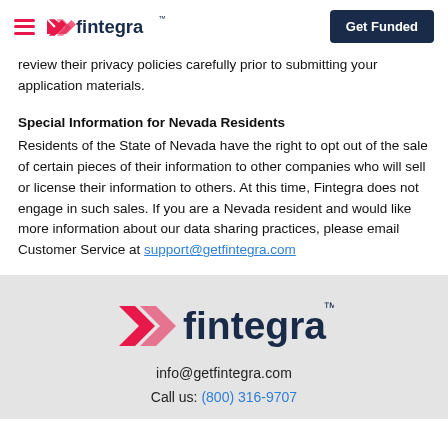fintegra | Get Funded
review their privacy policies carefully prior to submitting your application materials.
Special Information for Nevada Residents
Residents of the State of Nevada have the right to opt out of the sale of certain pieces of their information to other companies who will sell or license their information to others. At this time, Fintegra does not engage in such sales. If you are a Nevada resident and would like more information about our data sharing practices, please email Customer Service at support@getfintegra.com
[Figure (logo): Fintegra logo in footer — pink/red chevron icon with dark navy 'fintegra' wordmark]
info@getfintegra.com
Call us: (800) 316-9707